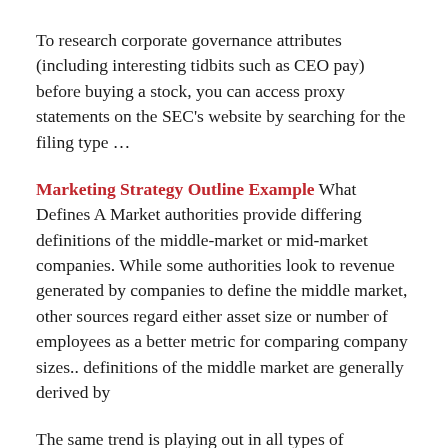To research corporate governance attributes (including interesting tidbits such as CEO pay) before buying a stock, you can access proxy statements on the SEC's website by searching for the filing type …
Marketing Strategy Outline Example What Defines A Market authorities provide differing definitions of the middle-market or mid-market companies. While some authorities look to revenue generated by companies to define the middle market, other sources regard either asset size or number of employees as a better metric for comparing company sizes.. definitions of the middle market are generally derived by
The same trend is playing out in all types of indebtedness… a more comfortable life when you